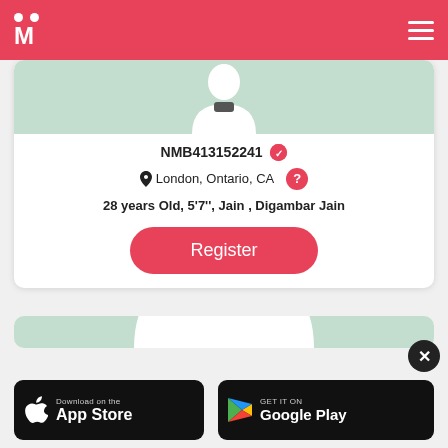[Figure (logo): Matrimony app logo with two dots above letter M on pink/red header background]
[Figure (screenshot): User profile silhouette in mint green background]
NMB413152241 ✓
London, Ontario, CA
28 years Old, 5'7'', Jain , Digambar Jain
Register
[Figure (screenshot): Second user profile silhouette in mint green background]
[Figure (screenshot): Download on the App Store badge]
[Figure (screenshot): GET IT ON Google Play badge]